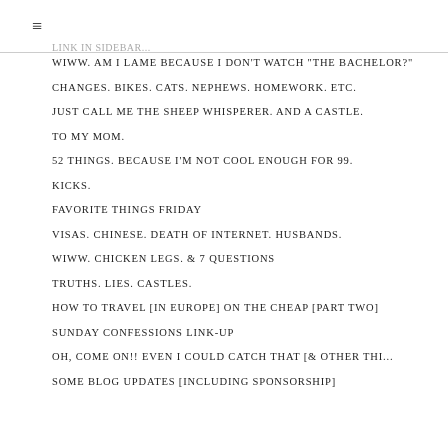≡
WIWW. AM I LAME BECAUSE I DON'T WATCH "THE BACHELOR?"
CHANGES. BIKES. CATS. NEPHEWS. HOMEWORK. ETC.
JUST CALL ME THE SHEEP WHISPERER. AND A CASTLE.
TO MY MOM.
52 THINGS. BECAUSE I'M NOT COOL ENOUGH FOR 99.
KICKS.
FAVORITE THINGS FRIDAY
VISAS. CHINESE. DEATH OF INTERNET. HUSBANDS.
WIWW. CHICKEN LEGS. & 7 QUESTIONS
TRUTHS. LIES. CASTLES.
HOW TO TRAVEL [IN EUROPE] ON THE CHEAP [PART TWO]
SUNDAY CONFESSIONS LINK-UP
OH, COME ON!! EVEN I COULD CATCH THAT [& OTHER THI...
SOME BLOG UPDATES [INCLUDING SPONSORSHIP]